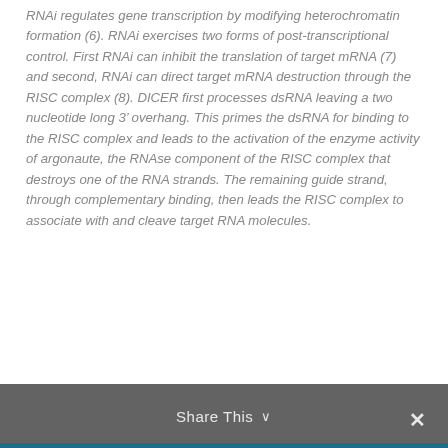RNAi regulates gene transcription by modifying heterochromatin formation (6). RNAi exercises two forms of post-transcriptional control. First RNAi can inhibit the translation of target mRNA (7) and second, RNAi can direct target mRNA destruction through the RISC complex (8). DICER first processes dsRNA leaving a two nucleotide long 3' overhang. This primes the dsRNA for binding to the RISC complex and leads to the activation of the enzyme activity of argonaute, the RNAse component of the RISC complex that destroys one of the RNA strands. The remaining guide strand, through complementary binding, then leads the RISC complex to associate with and cleave target RNA molecules.
Share This ∨  ✕